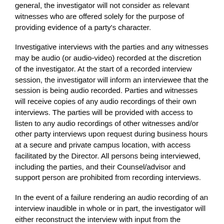general, the investigator will not consider as relevant witnesses who are offered solely for the purpose of providing evidence of a party's character.
Investigative interviews with the parties and any witnesses may be audio (or audio-video) recorded at the discretion of the investigator. At the start of a recorded interview session, the investigator will inform an interviewee that the session is being audio recorded. Parties and witnesses will receive copies of any audio recordings of their own interviews. The parties will be provided with access to listen to any audio recordings of other witnesses and/or other party interviews upon request during business hours at a secure and private campus location, with access facilitated by the Director. All persons being interviewed, including the parties, and their Counsel/advisor and support person are prohibited from recording interviews.
In the event of a failure rendering an audio recording of an interview inaudible in whole or in part, the investigator will either reconstruct the interview with input from the interviewee or re-